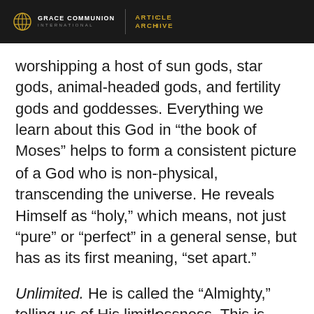GRACE COMMUNION INTERNATIONAL | ARTICLE ARCHIVE
worshipping a host of sun gods, star gods, animal-headed gods, and fertility gods and goddesses. Everything we learn about this God in “the book of Moses” helps to form a consistent picture of a God who is non-physical, transcending the universe. He reveals Himself as “holy,” which means, not just “pure” or “perfect” in a general sense, but has as its first meaning, “set apart.”
Unlimited. He is called the “Almighty,” telling us of His limitlessness. This is what Spinoza deduced that the First Cause must be, because if the First Cause is limited by anything, then it